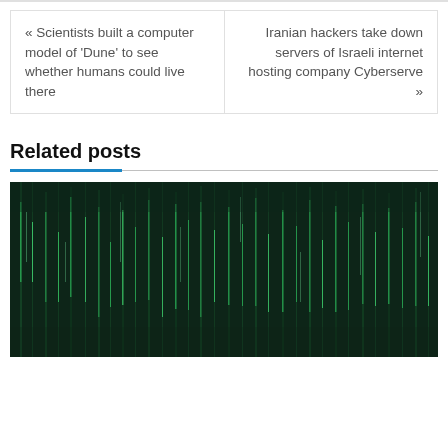« Scientists built a computer model of 'Dune' to see whether humans could live there
Iranian hackers take down servers of Israeli internet hosting company Cyberserve »
Related posts
[Figure (photo): Dark background with green glowing vertical streaks resembling digital matrix rain or fiber optic light trails]